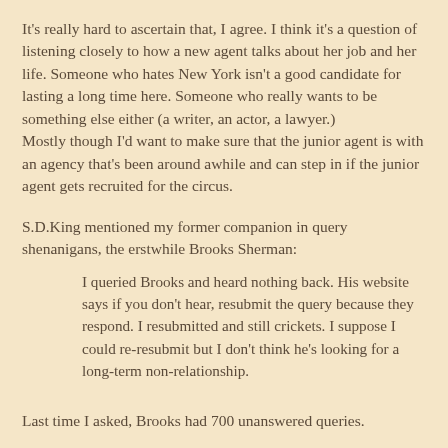It's really hard to ascertain that, I agree. I think it's a question of listening closely to how a new agent talks about her job and her life. Someone who hates New York isn't a good candidate for lasting a long time here. Someone who really wants to be something else either (a writer, an actor, a lawyer.)
Mostly though I'd want to make sure that the junior agent is with an agency that's been around awhile and can step in if the junior agent gets recruited for the circus.
S.D.King mentioned my former companion in query shenanigans, the erstwhile Brooks Sherman:
I queried Brooks and heard nothing back. His website says if you don't hear, resubmit the query because they respond. I resubmitted and still crickets. I suppose I could re-resubmit but I don't think he's looking for a long-term non-relationship.
Last time I asked, Brooks had 700 unanswered queries.